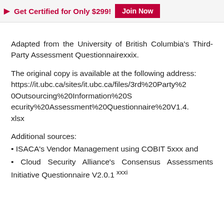▷ Get Certified for Only $299!  Join Now
Adapted from the University of British Columbia's Third-Party Assessment Questionnairexxix.
The original copy is available at the following address:
https://it.ubc.ca/sites/it.ubc.ca/files/3rd%20Party%20Outsourcing%20Information%20Security%20Assessment%20Questionnaire%20V1.4.xlsx
Additional sources:
• ISACA's Vendor Management using COBIT 5xxx and
• Cloud Security Alliance's Consensus Assessments Initiative Questionnaire V2.0.1 xxxi